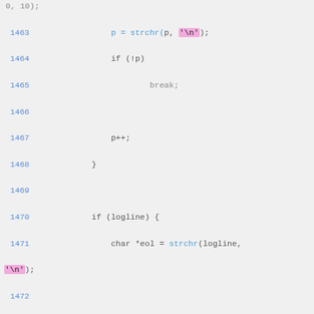[Figure (screenshot): Source code listing in C showing lines 1463-1484 with syntax highlighting. Line numbers in blue on the left, keywords and function names colored, string literals highlighted in pink/magenta background.]